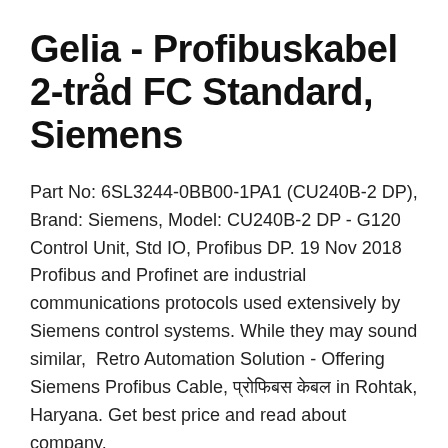Gelia - Profibuskabel 2-tråd FC Standard, Siemens
Part No: 6SL3244-0BB00-1PA1 (CU240B-2 DP), Brand: Siemens, Model: CU240B-2 DP - G120 Control Unit, Std IO, Profibus DP. 19 Nov 2018 Profibus and Profinet are industrial communications protocols used extensively by Siemens control systems. While they may sound similar,  Retro Automation Solution - Offering Siemens Profibus Cable, प्रोफिबस केबल in Rohtak, Haryana. Get best price and read about company.